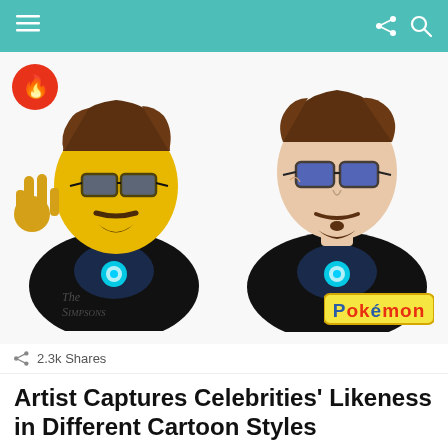Navigation bar with menu, share, and search icons
[Figure (illustration): Two cartoon-style illustrations of a celebrity (Tony Stark / Robert Downey Jr.) rendered side by side: left in The Simpsons yellow cartoon style with peace sign hand, dark blazer and arc reactor; right in Pokémon anime style with dark blazer and arc reactor. Fire badge icon in top-left corner. Pokémon logo in bottom-right. Simpsons-style watermark bottom-left.]
2.3k Shares
Artist Captures Celebrities' Likeness in Different Cartoon Styles
by viralbandit
June 8, 2021, 5:39 pm